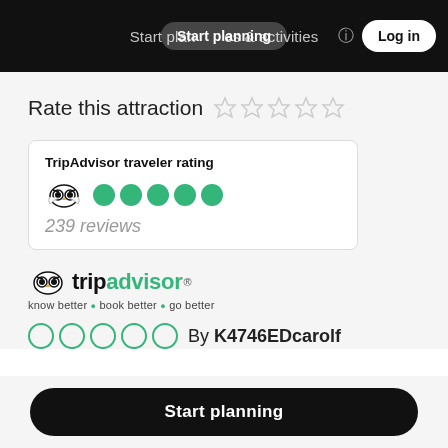Start planning   experiences & activities   Log in
Rate this attraction ☆☆☆☆☆
| TripAdvisor traveler rating |
| 🦉 ● ● ● ● ● |
| 239 reviews |
[Figure (logo): TripAdvisor owl logo with text 'tripadvisor®' and tagline 'know better ● book better ● go better']
○○○○○  By K4746EDcarolf
Start planning